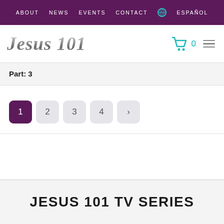ABOUT  NEWS  EVENTS  CONTACT  ESPAÑOL
[Figure (logo): Jesus 101 logo in silver/grey italic serif font]
Part:  3
Pagination: 1 (active), 2, 3, 4, ›
JESUS 101 TV SERIES